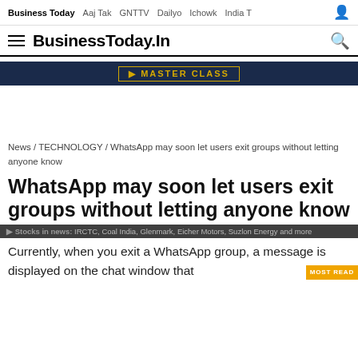Business Today  Aaj Tak  GNTTV  Dailyo  Ichowk  India T
BusinessToday.In
[Figure (screenshot): Dark navy banner advertisement with gold text reading MASTERCLASS]
News / TECHNOLOGY / WhatsApp may soon let users exit groups without letting anyone know
WhatsApp may soon let users exit groups without letting anyone know
Stocks in news: IRCTC, Coal India, Glenmark, Eicher Motors, Suzlon Energy and more
Currently, when you exit a WhatsApp group, a message is displayed on the chat window that